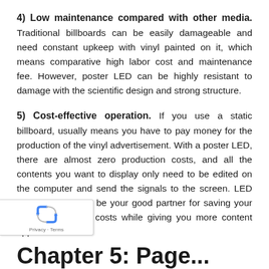4) Low maintenance compared with other media. Traditional billboards can be easily damageable and need constant upkeep with vinyl painted on it, which means comparative high labor cost and maintenance fee. However, poster LED can be highly resistant to damage with the scientific design and strong structure.
5) Cost-effective operation. If you use a static billboard, usually means you have to pay money for the production of the vinyl advertisement. With a poster LED, there are almost zero production costs, and all the contents you want to display only need to be edited on the computer and send the signals to the screen. LED poster screen can be your good partner for saving your labor and energy costs while giving you more content opportunities.
Chapter 5: Page...